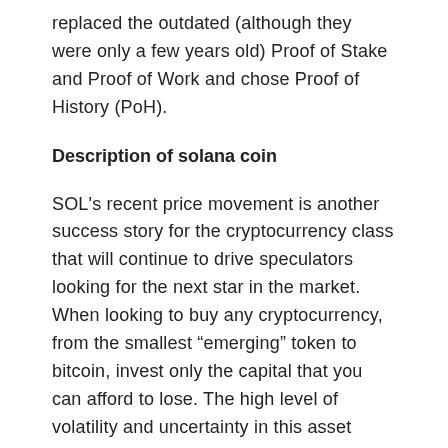replaced the outdated (although they were only a few years old) Proof of Stake and Proof of Work and chose Proof of History (PoH).
Description of solana coin
SOL's recent price movement is another success story for the cryptocurrency class that will continue to drive speculators looking for the next star in the market. When looking to buy any cryptocurrency, from the smallest “emerging” token to bitcoin, invest only the capital that you can afford to lose. The high level of volatility and uncertainty in this asset class is an excellent example of the reward potential commensurate with the high level of risk.